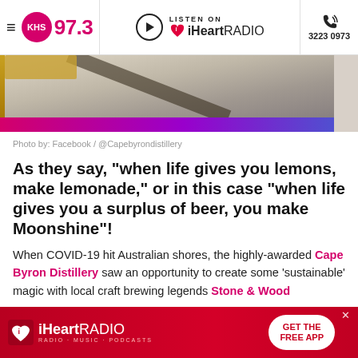KHS 97.3 | LISTEN ON iHeartRADIO | 3223 0973
[Figure (photo): Close-up photo of a golden/amber liquid or object, with pink and purple gradient bar at bottom, pink border on left]
Photo by: Facebook / @Capebyrondistillery
As they say, “when life gives you lemons, make lemonade,” or in this case “when life gives you a surplus of beer, you make Moonshine”!
When COVID-19 hit Australian shores, the highly-awarded Cape Byron Distillery saw an opportunity to create some ‘sustainable’ magic with local craft brewing legends Stone & Wood
[Figure (screenshot): iHeartRADIO advertisement banner with GET THE FREE APP button]